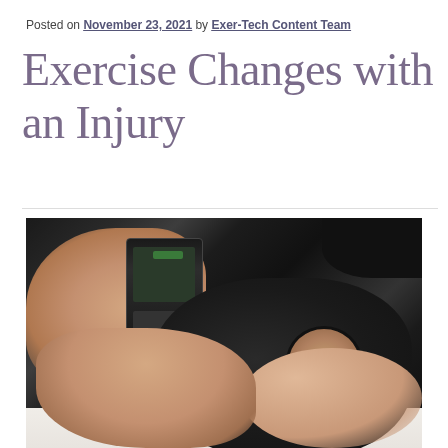Posted on November 23, 2021 by Exer-Tech Content Team
Exercise Changes with an Injury
[Figure (photo): Close-up photo of a person's knee wrapped in a black knee brace with a kneecap opening, while a hand holds a TENS (transcutaneous electrical nerve stimulation) device connected to the brace by wires. The patient is lying on a white surface, wearing dark clothing.]